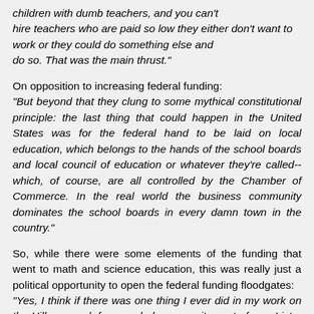children with dumb teachers, and you can't hire teachers who are paid so low they either don't want to work or they could do something else and do so. That was the main thrust."
On opposition to increasing federal funding: "But beyond that they clung to some mythical constitutional principle: the last thing that could happen in the United States was for the federal hand to be laid on local education, which belongs to the hands of the school boards and local council of education or whatever they're called--which, of course, are all controlled by the Chamber of Commerce. In the real world the business community dominates the school boards in every damn town in the country."
So, while there were some elements of the funding that went to math and science education, this was really just a political opportunity to open the federal funding floodgates: "Yes, I think if there was one thing I ever did in my work on the Hill, my work for my whole career, it was to focus Lister Hill's attention on the opportunity which Sputnik, this